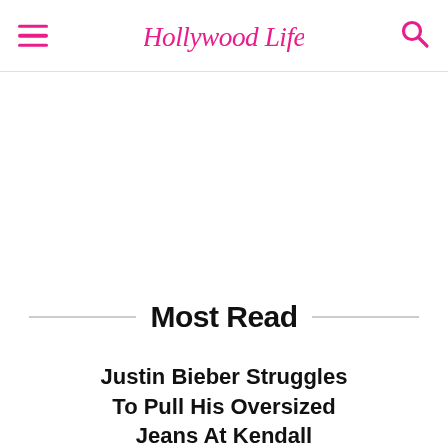Hollywood Life
Most Read
Justin Bieber Struggles To Pull His Oversized Jeans At Kendall Jenner's 818 Party